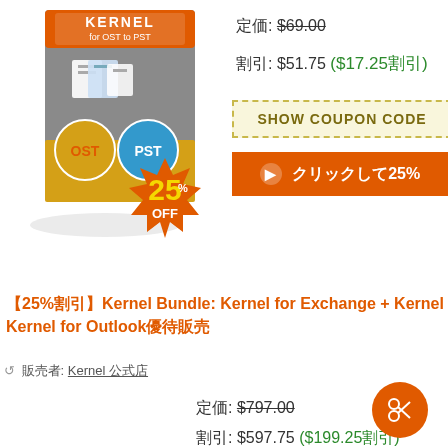[Figure (illustration): Kernel for OST to PST software box with orange/grey/yellow design showing OST and PST icons, binary numbers, and a 25% OFF orange starburst badge in foreground]
定価: $69.00
割引: $51.75 ($17.25割引)
SHOW COUPON CODE
▶ クリックして25%割引
【25%割引】Kernel Bundle: Kernel for Exchange + Kernel for Outlook優待販売
🔁 販売者: Kernel 公式店
定価: $797.00
割引: $597.75 ($199.25割引)